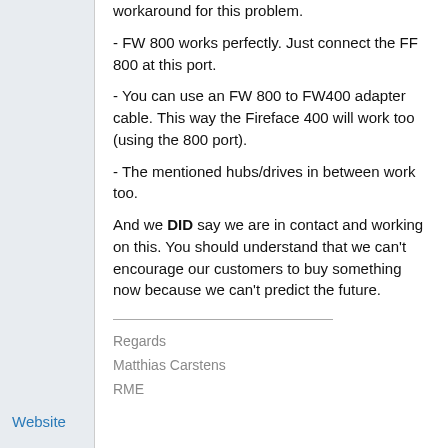workaround for this problem.
- FW 800 works perfectly. Just connect the FF 800 at this port.
- You can use an FW 800 to FW400 adapter cable. This way the Fireface 400 will work too (using the 800 port).
- The mentioned hubs/drives in between work too.
And we DID say we are in contact and working on this. You should understand that we can't encourage our customers to buy something now because we can't predict the future.
Regards
Matthias Carstens
RME
Website